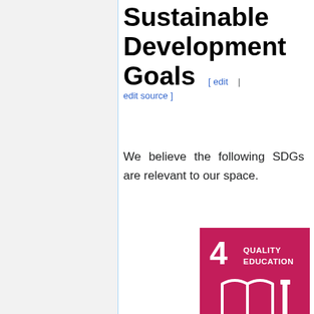Sustainable Development Goals [edit | edit source]
We believe the following SDGs are relevant to our space.
[Figure (illustration): SDG 4 Quality Education badge — red/crimson square with large '4' and 'QUALITY EDUCATION' text in white, with an open book and pencil icon in white below.]
[Figure (illustration): SDG 10 Reduced Inequalities badge — magenta/pink square with large '10' and 'REDUCED INEQUALITIES' text in white, with a circular equality symbol icon in white below.]